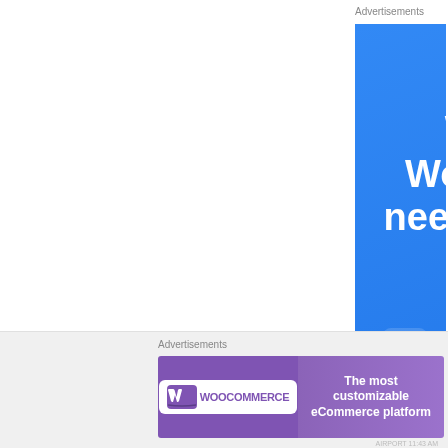Advertisements
[Figure (illustration): Blue advertisement banner for Pressable WordPress hosting. Large white bold text reads 'When your WordPress site needs speed, you need' followed by the Pressable logo (P icon) and brand name 'Pressable'. A teal horizontal line appears below the logo area.]
Advertisements
[Figure (illustration): Purple advertisement banner for WooCommerce. Left side shows WooCommerce logo (white box with cart icon and 'WOOCOMMERCE' text in purple). Right side shows white text: 'The most customizable eCommerce platform'.]